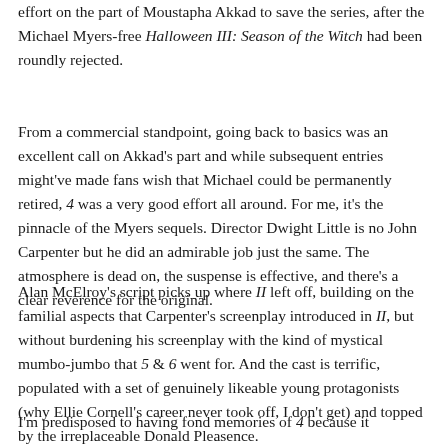effort on the part of Moustapha Akkad to save the series, after the Michael Myers-free Halloween III: Season of the Witch had been roundly rejected.
From a commercial standpoint, going back to basics was an excellent call on Akkad's part and while subsequent entries might've made fans wish that Michael could be permanently retired, 4 was a very good effort all around. For me, it's the pinnacle of the Myers sequels. Director Dwight Little is no John Carpenter but he did an admirable job just the same. The atmosphere is dead on, the suspense is effective, and there's a clear reverence for the original.
Alan McElroy's script picks up where II left off, building on the familial aspects that Carpenter's screenplay introduced in II, but without burdening his screenplay with the kind of mystical mumbo-jumbo that 5 & 6 went for. And the cast is terrific, populated with a set of genuinely likeable young protagonists (why Ellie Cornell's career never took off, I don't get) and topped by the irreplaceable Donald Pleasence.
I'm predisposed to having fond memories of 4 because it